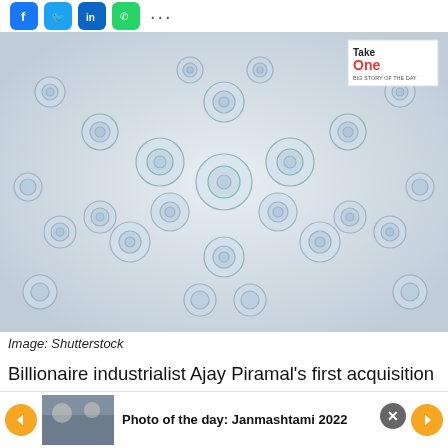[Figure (other): Social media share icons: Facebook (blue), Twitter (blue), LinkedIn (blue), WhatsApp (green), and more (dots)]
[Figure (photo): Overhead view of many clear glass/plastic bottles arranged in a radial pattern, with a 'Take One - Big Story of the Day' badge in the top right corner. Image credit: Shutterstock.]
Image: Shutterstock
Billionaire industrialist Ajay Piramal's first acquisition was
[Figure (photo): Bottom notification bar showing a thumbnail of a crowd scene and text: 'Photo of the day: Janmashtami 2022' with left/right navigation arrows]